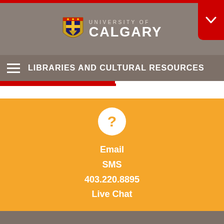[Figure (logo): University of Calgary logo with shield crest and text 'UNIVERSITY OF CALGARY']
LIBRARIES AND CULTURAL RESOURCES
Email
SMS
403.220.8895
Live Chat
energize